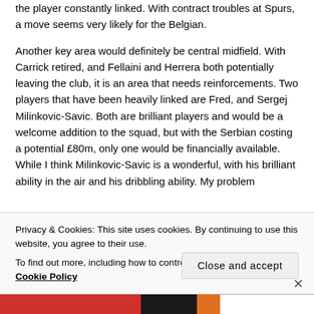the player constantly linked. With contract troubles at Spurs, a move seems very likely for the Belgian.
Another key area would definitely be central midfield. With Carrick retired, and Fellaini and Herrera both potentially leaving the club, it is an area that needs reinforcements. Two players that have been heavily linked are Fred, and Sergej Milinkovic-Savic. Both are brilliant players and would be a welcome addition to the squad, but with the Serbian costing a potential £80m, only one would be financially available. While I think Milinkovic-Savic is a wonderful, with his brilliant ability in the air and his dribbling ability. My problem
Privacy & Cookies: This site uses cookies. By continuing to use this website, you agree to their use.
To find out more, including how to control cookies, see here: Cookie Policy
Close and accept